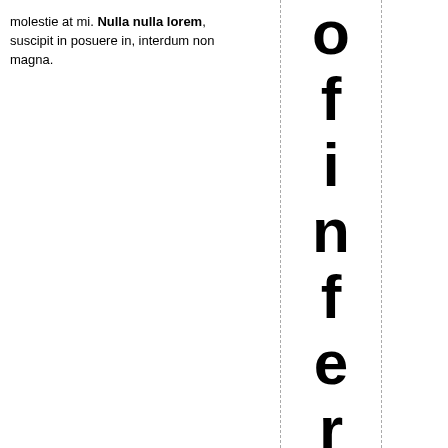molestie at mi. Nulla nulla lorem, suscipit in posuere in, interdum non magna.
[Figure (other): Vertically stacked large bold letters spelling 'o f i n f e r e n c e' with dashed border lines on left and right, and a partial 'B' at the bottom]